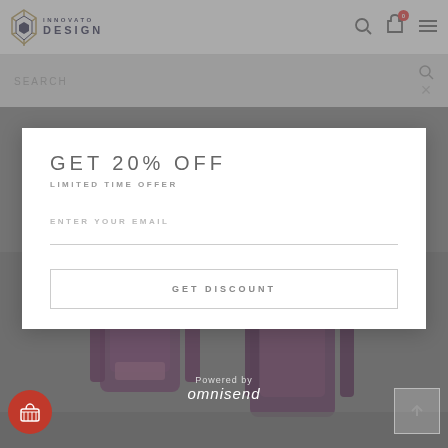[Figure (screenshot): Innovato Design e-commerce website screenshot with a modal popup for 20% off discount offer. Background shows the website header with logo, search bar, and partially visible backpack product page. A white modal overlay shows 'GET 20% OFF - LIMITED TIME OFFER' with email input and GET DISCOUNT button. Powered by omnisend shown below modal.]
GET 20% OFF
LIMITED TIME OFFER
ENTER YOUR EMAIL
GET DISCOUNT
Powered by omnisend